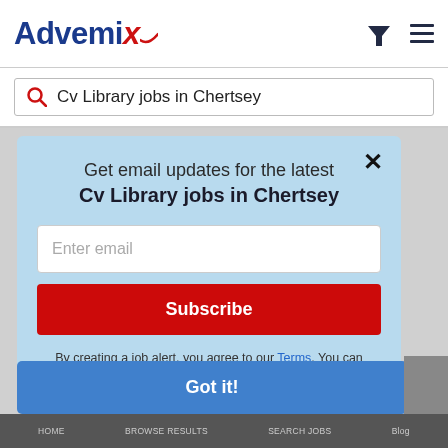[Figure (logo): Advemix logo with blue text and red stylized X with swoosh]
Cv Library jobs in Chertsey
Get email updates for the latest Cv Library jobs in Chertsey
Enter email
Subscribe
By creating a job alert, you agree to our Terms. You can unsubscribe at any time.
Got it!